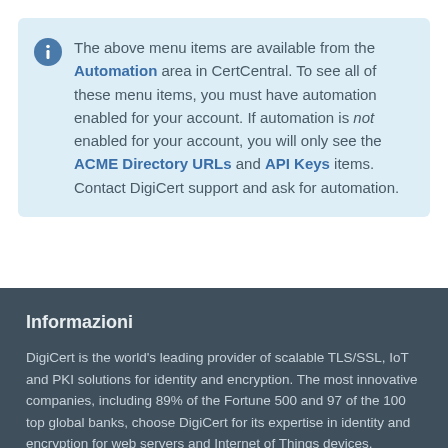The above menu items are available from the Automation area in CertCentral. To see all of these menu items, you must have automation enabled for your account. If automation is not enabled for your account, you will only see the ACME Directory URLs and API Keys items. Contact DigiCert support and ask for automation.
Informazioni
DigiCert is the world's leading provider of scalable TLS/SSL, IoT and PKI solutions for identity and encryption. The most innovative companies, including 89% of the Fortune 500 and 97 of the 100 top global banks, choose DigiCert for its expertise in identity and encryption for web servers and Internet of Things devices. DigiCert supports TLS and other digital certificates for PKI deployments at any scale through its certificate lifecycle management...